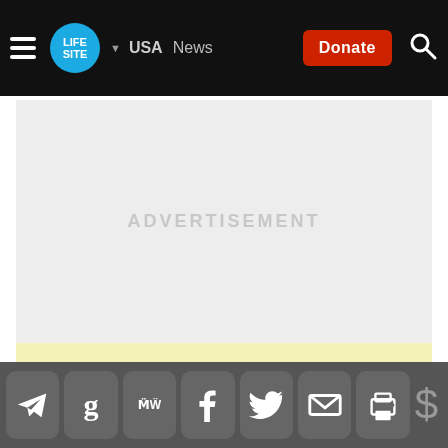LifeSite — USA News — Donate — Search
[Figure (other): Advertisement placeholder box with light gray background and 'ADVERTISEMENT' watermark text, with a pale yellow strip at the bottom]
News
Opinions (partially visible)
Share icons: Telegram, Gettr, MeWe, Facebook, Twitter, Email, Print. Dollar sign icon.